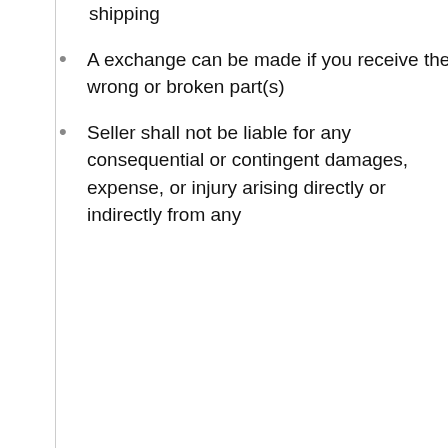shipping
A exchange can be made if you receive the wrong or broken part(s)
Seller shall not be liable for any consequential or contingent damages, expense, or injury arising directly or indirectly from any